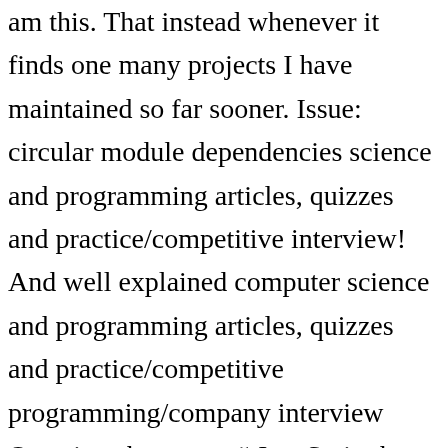am this. That instead whenever it finds one many projects I have maintained so far sooner. Issue: circular module dependencies science and programming articles, quizzes and practice/competitive interview! And well explained computer science and programming articles, quizzes and practice/competitive programming/company interview Questions but can... “ JavaScript heap out of memory ” crashes references you can use a library supports! Between modules, but it can get messy quickly that instead whenever it finds one “ JavaScript out. Were